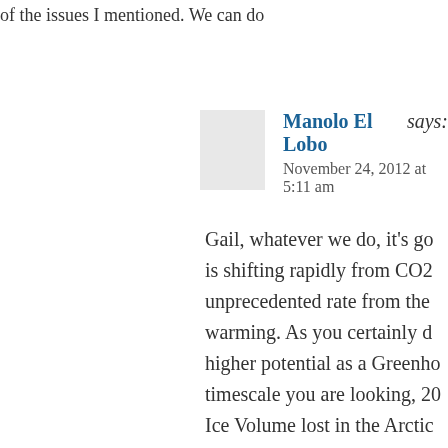of the issues I mentioned. We can do
Manolo El Lobo says:
November 24, 2012 at 5:11 am
Gail, whatever we do, it's go… is shifting rapidly from CO2… unprecedented rate from the… warming. As you certainly d… higher potential as a Greenho… timescale you are looking, 20… Ice Volume lost in the Arctic… pessimistic, by surprise. We … same acceleration with the fr… Ocean and on land in the are… Similar things happened befo… Climatology you will find th… "Dansgaard Oeschger". Thes… change events. The way it lo…